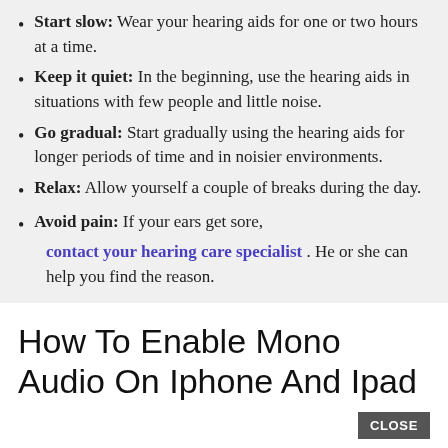Start slow: Wear your hearing aids for one or two hours at a time.
Keep it quiet: In the beginning, use the hearing aids in situations with few people and little noise.
Go gradual: Start gradually using the hearing aids for longer periods of time and in noisier environments.
Relax: Allow yourself a couple of breaks during the day.
Avoid pain: If your ears get sore, contact your hearing care specialist . He or she can help you find the reason.
How To Enable Mono Audio On Iphone And Ipad
Typical stereo audio includes distinct left and right channels, so each ear gets different sounds. Mono audio